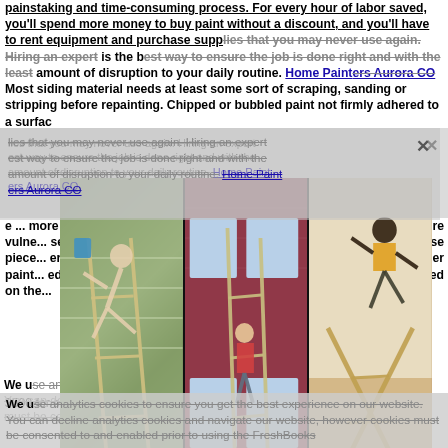painstaking and time-consuming process. For every hour of labor saved, you'll spend more money to buy paint without a discount, and you'll have to rent equipment and purchase supplies that you may never use again. Hiring an expert is the best way to ensure the job is done right and with the least amount of disruption to your daily routine. Home Painters Aurora CO
Most siding material needs at least some sort of scraping, sanding or stripping before repainting. Chipped or bubbled paint not firmly adhered to a surface ... more vulnerable ... pieces ... paint ... on the ...
[Figure (photo): Three photos side by side showing people working on ladders: left photo shows person falling off a ladder near a house with white siding, center photo shows person on a ladder painting a brick house exterior, right photo shows person indoors falling off a ladder.]
You'll s... foot to paint co... nce concrete... nce if the co... only helps b... also seals it... 0 to $500 for every 100 square feet. Aurora House Painting
We use analytics cookies to ensure you get the best experience on our website. You can decline analytics cookies and navigate our website, however cookies must be consented to and enabled prior to using the FreshBooks...